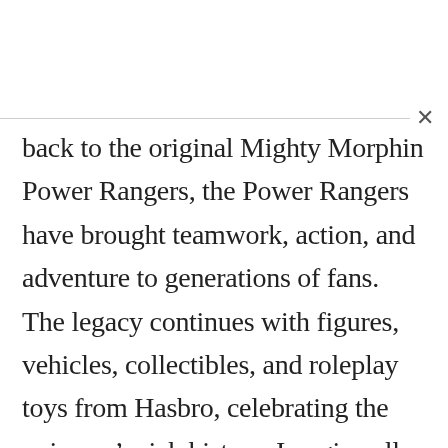back to the original Mighty Morphin Power Rangers, the Power Rangers have brought teamwork, action, and adventure to generations of fans. The legacy continues with figures, vehicles, collectibles, and roleplay toys from Hasbro, celebrating the universe's rich history. Imagine all the action of Power Rangers with toys from Hasbro!
In the Power Rangers series, the Red Ranger must face his most dangerous opponent, an evil